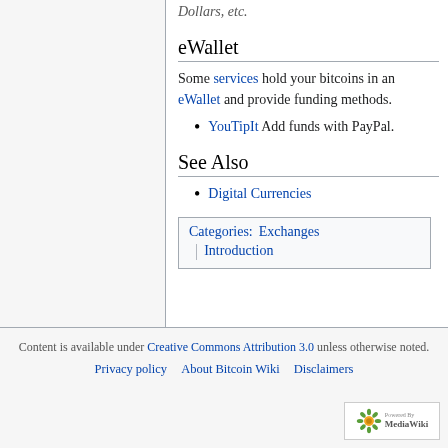Dollars, etc.
eWallet
Some services hold your bitcoins in an eWallet and provide funding methods.
YouTipIt Add funds with PayPal.
See Also
Digital Currencies
Categories: Exchanges | Introduction
Content is available under Creative Commons Attribution 3.0 unless otherwise noted. Privacy policy · About Bitcoin Wiki · Disclaimers